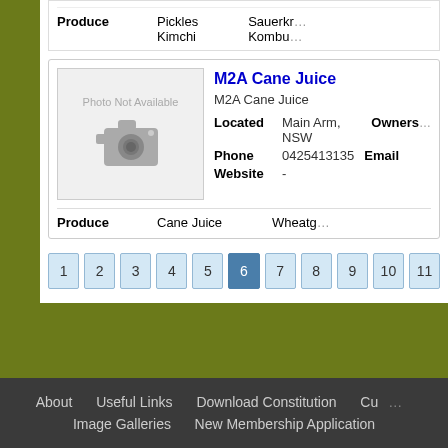| Field | Value |
| --- | --- |
| Produce | Pickles  Kimchi  Sauerkr...  Kombu... |
M2A Cane Juice
M2A Cane Juice
Located: Main Arm, NSW   Owners:
Phone: 0425413135   Email:
Website: -
Produce: Cane Juice   Wheatg...
1
2
3
4
5
6
7
8
9
10
11
About   Useful Links   Download Constitution   Cu...   Image Galleries   New Membership Application